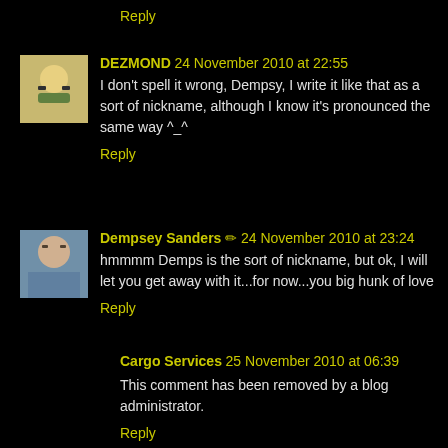Reply
DEZMOND  24 November 2010 at 22:55
I don't spell it wrong, Dempsy, I write it like that as a sort of nickname, although I know it's pronounced the same way ^_^
Reply
Dempsey Sanders ✏ 24 November 2010 at 23:24
hmmmm Demps is the sort of nickname, but ok, I will let you get away with it...for now...you big hunk of love
Reply
Cargo Services  25 November 2010 at 06:39
This comment has been removed by a blog administrator.
Reply